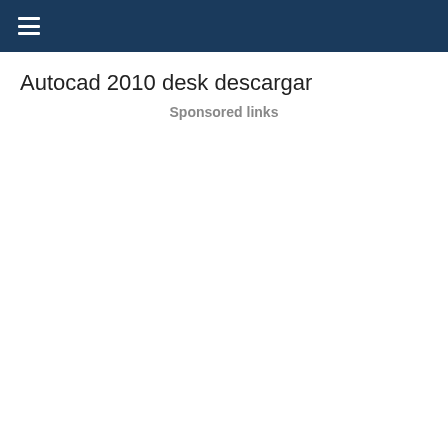☰
Autocad 2010 desk descargar
Sponsored links